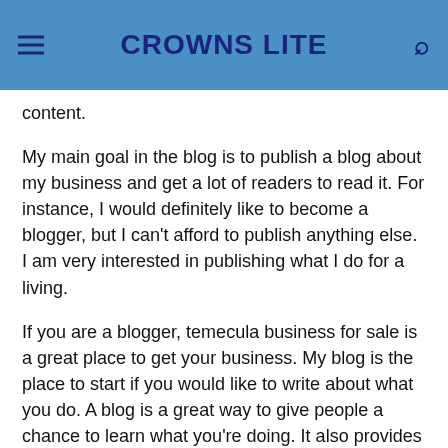CROWNS LITE
content.
My main goal in the blog is to publish a blog about my business and get a lot of readers to read it. For instance, I would definitely like to become a blogger, but I can't afford to publish anything else. I am very interested in publishing what I do for a living.
If you are a blogger, temecula business for sale is a great place to get your business. My blog is the place to start if you would like to write about what you do. A blog is a great way to give people a chance to learn what you're doing. It also provides another great opportunity to make money.
It's a little weird that this is a business for sale because temecula is my home and I would like to live in it. I'm not going